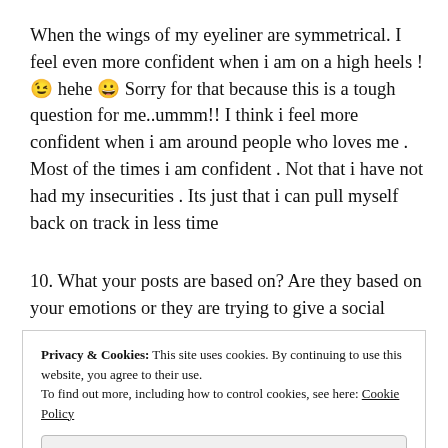When the wings of my eyeliner are symmetrical. I feel even more confident when i am on a high heels ! 😉 hehe 😀 Sorry for that because this is a tough question for me..ummm!! I think i feel more confident when i am around people who loves me . Most of the times i am confident . Not that i have not had my insecurities . Its just that i can pull myself back on track in less time
10. What your posts are based on? Are they based on your emotions or they are trying to give a social message to a
Privacy & Cookies: This site uses cookies. By continuing to use this website, you agree to their use. To find out more, including how to control cookies, see here: Cookie Policy
Close and accept
because i know there are lot of people like me out there